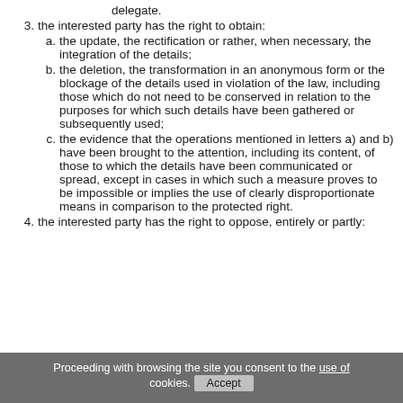delegate.
3. the interested party has the right to obtain:
a. the update, the rectification or rather, when necessary, the integration of the details;
b. the deletion, the transformation in an anonymous form or the blockage of the details used in violation of the law, including those which do not need to be conserved in relation to the purposes for which such details have been gathered or subsequently used;
c. the evidence that the operations mentioned in letters a) and b) have been brought to the attention, including its content, of those to which the details have been communicated or spread, except in cases in which such a measure proves to be impossible or implies the use of clearly disproportionate means in comparison to the protected right.
4. the interested party has the right to oppose, entirely or partly:
Proceeding with browsing the site you consent to the use of cookies. Accept